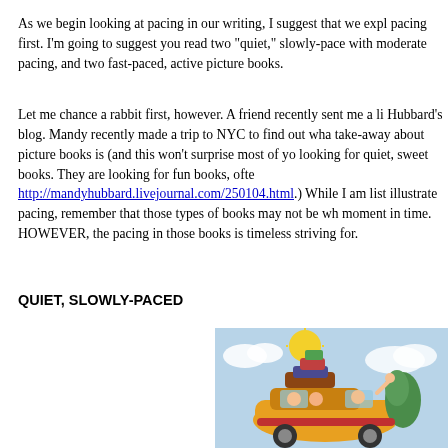As we begin looking at pacing in our writing, I suggest that we explore pacing first. I'm going to suggest you read two "quiet," slowly-paced with moderate pacing, and two fast-paced, active picture books.
Let me chance a rabbit first, however. A friend recently sent me a link to Mandy Hubbard's blog. Mandy recently made a trip to NYC to find out what the take-away about picture books is (and this won't surprise most of you) — not looking for quiet, sweet books. They are looking for fun books, often... http://mandyhubbard.livejournal.com/250104.html.) While I am listing quiet books to illustrate pacing, remember that those types of books may not be what's selling at this moment in time. HOWEVER, the pacing in those books is timeless and what we should be striving for.
QUIET, SLOWLY-PACED
[Figure (illustration): Colorful illustrated picture book image showing a yellow car packed with luggage on top and children inside, with a bright sun in the background, appearing to be a family road trip scene.]